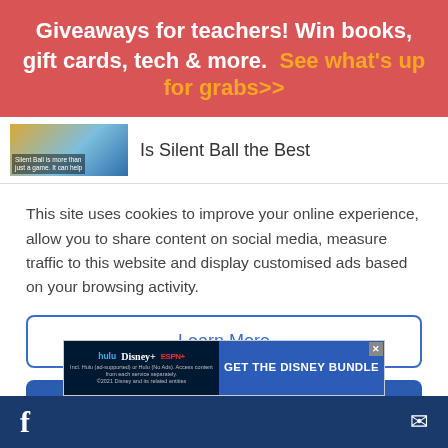Giveaways for teachers! Win books, gift cards, tech & more. See what's up for grabs>>
Is Silent Ball the Best
This site uses cookies to improve your online experience, allow you to share content on social media, measure traffic to this website and display customised ads based on your browsing activity.
Learn More
Accept
JOIN OUR NEWSLETTER LIST!
[Figure (advertisement): Disney Bundle ad with Hulu, Disney+, ESPN+ logos and 'GET THE DISNEY BUNDLE' call to action]
Incl. Hulu (ad-supported) or Hulu (No Ads). Access content from each service separately. ©2021 Disney and its related entities